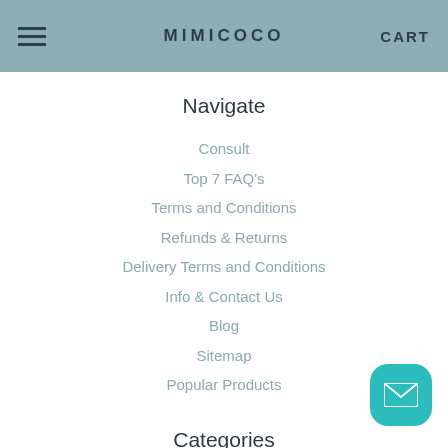MIMICOCO CART
Navigate
Consult
Top 7 FAQ's
Terms and Conditions
Refunds & Returns
Delivery Terms and Conditions
Info & Contact Us
Blog
Sitemap
Popular Products
Categories
Tiles& Bathware Package
Brands
Tapware
Accessories
[Figure (illustration): Teal rounded square mail/envelope icon button in the bottom right corner]